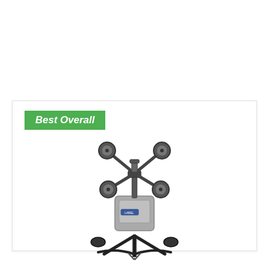[Figure (photo): A baseball pitching machine with four wheels arranged in an X pattern at the top, mounted on a wheeled metal frame with curved legs. The machine appears to be a multi-wheel pitching machine in silver/gray and black colors.]